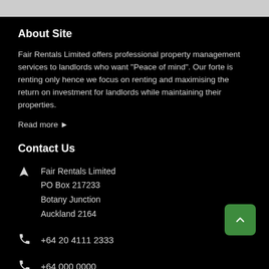About Site
Fair Rentals Limited offers professional property management services to landlords who want "Peace of mind". Our forte is renting only hence we focus on renting and maximising the return on investment for landlords while maintaining their properties.
Read more ▶
Contact Us
Fair Rentals Limited
PO Box 217233
Botany Junction
Auckland 2164
+64 20 4111 2333
+64 000 0000